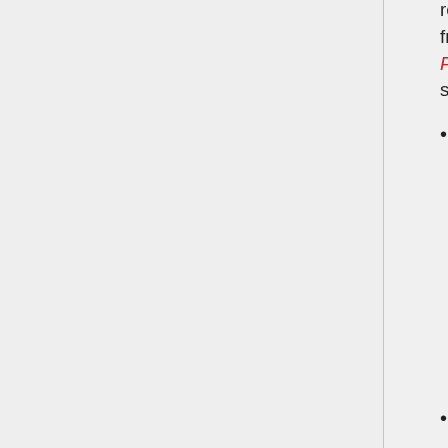received from NASA's Pioneer 11 spacecraft.
Participants in the Yugoslav Wars begin negotiations at the Wright-Patterson Air Force Base in Dayton, Ohio.
November 2 – The Supreme Court of Argentina orders the extradition of ex-S.S. captain [Erich Priebke]